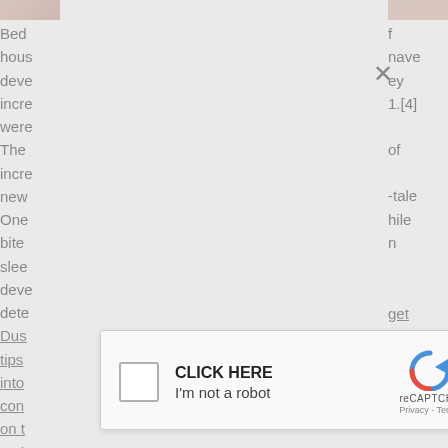[Figure (screenshot): Screenshot of a webpage partially obscured by a reCAPTCHA modal dialog. The background shows article text clipped on the left and right sides. A close (X) button appears top-center. A reCAPTCHA 'CLICK HERE / I'm not a robot' checkbox widget appears in the center-lower area.]
Bed
hous
deve
incre
were
The
incre
new
One
bite
slee
deve
dete
Dust
tips
into
con
on t
resi
trea
cou
Brin
item
Esse
f
have
ey
1.[4]
of
-tale
hile
n
get
ed
ther